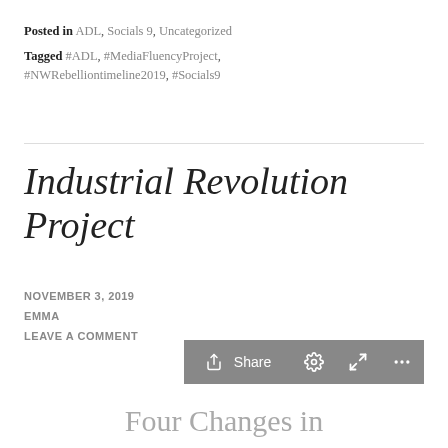Posted in ADL, Socials 9, Uncategorized
Tagged #ADL, #MediaFluencyProject, #NWRebelliontimeline2019, #Socials9
Industrial Revolution Project
NOVEMBER 3, 2019
EMMA
LEAVE A COMMENT
[Figure (screenshot): Share toolbar with Share button, settings gear icon, expand icon, and ellipsis (more) icon, all in gray.]
Four Changes in